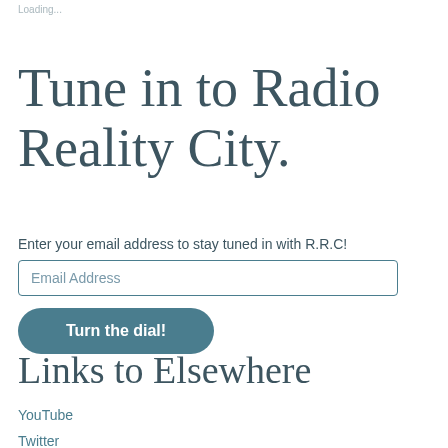Loading...
Tune in to Radio Reality City.
Enter your email address to stay tuned in with R.R.C!
Links to Elsewhere
YouTube
Twitter
Facebook